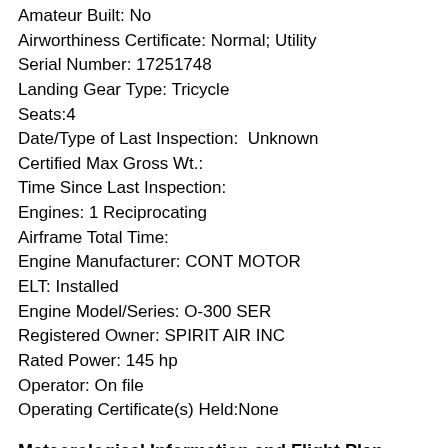Amateur Built: No
Airworthiness Certificate: Normal; Utility
Serial Number: 17251748
Landing Gear Type: Tricycle
Seats:4
Date/Type of Last Inspection:  Unknown
Certified Max Gross Wt.:
Time Since Last Inspection:
Engines: 1 Reciprocating
Airframe Total Time:
Engine Manufacturer: CONT MOTOR
ELT: Installed
Engine Model/Series: O-300 SER
Registered Owner: SPIRIT AIR INC
Rated Power: 145 hp
Operator: On file
Operating Certificate(s) Held:None
Meteorological Information and Flight Plan
Conditions at Accident Site: Visual Conditions
Condition of Light: Day